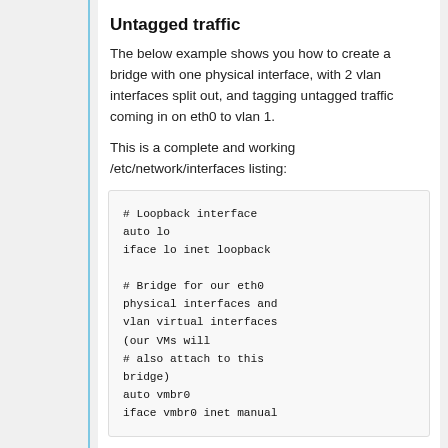Untagged traffic
The below example shows you how to create a bridge with one physical interface, with 2 vlan interfaces split out, and tagging untagged traffic coming in on eth0 to vlan 1.
This is a complete and working /etc/network/interfaces listing:
# Loopback interface
auto lo
iface lo inet loopback

# Bridge for our eth0 physical interfaces and vlan virtual interfaces (our VMs will
# also attach to this bridge)
auto vmbr0
iface vmbr0 inet manual